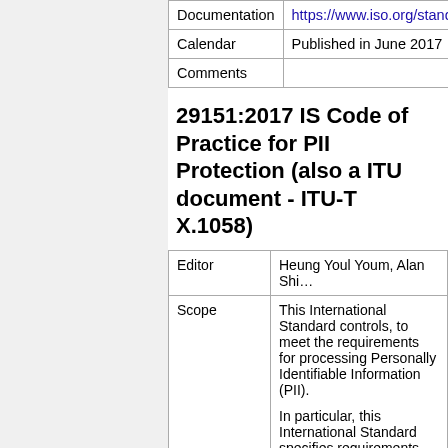|  |  |
| --- | --- |
| Documentation | https://www.iso.org/standar… |
| Calendar | Published in June 2017 |
| Comments |  |
29151:2017 IS Code of Practice for PII Protection (also a ITU document - ITU-T X.1058)
|  |  |
| --- | --- |
| Editor | Heung Youl Youm, Alan Shi… |
| Scope | This International Standard controls, to meet the requirements for processing Personally Identifiable Information (PII).

In particular, this International Standard specifies requirements for processing in applicable environment(s).

This International Standard government entities, and no… |